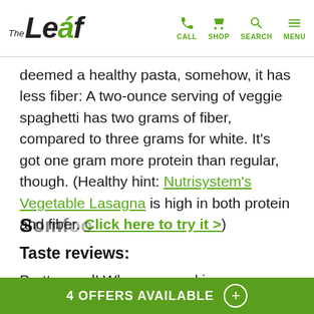The Leaf | CALL SHOP SEARCH MENU
deemed a healthy pasta, somehow, it has less fiber: A two-ounce serving of veggie spaghetti has two grams of fiber, compared to three grams for white. It's got one gram more protein than regular, though. (Healthy hint: Nutrisystem's Vegetable Lasagna is high in both protein and fiber. Click here to try it >)
Taste reviews:
Pretty good! When covered in sauce, there's little taste difference. One reviewer said that, unlike whole wheat pasta, the veggie-added spaghetti doesn't suffer from a difference in texture.
4 OFFERS AVAILABLE +